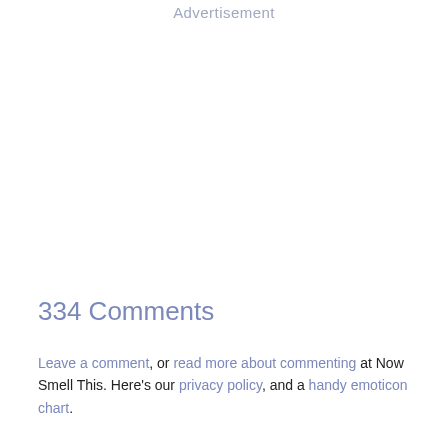Advertisement
334 Comments
Leave a comment, or read more about commenting at Now Smell This. Here's our privacy policy, and a handy emoticon chart.